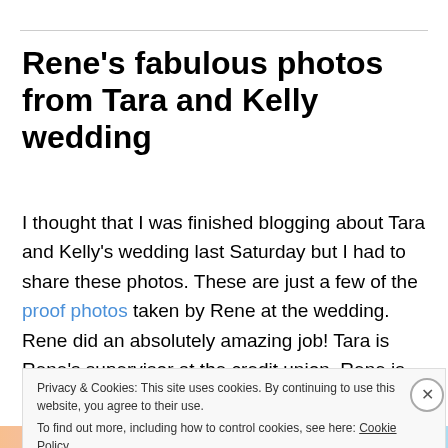Rene's fabulous photos from Tara and Kelly wedding
I thought that I was finished blogging about Tara and Kelly's wedding last Saturday but I had to share these photos. These are just a few of the proof photos taken by Rene at the wedding. Rene did an absolutely amazing job! Tara is Rene's supervisor at the credit union. Rene is building her portfolio so that she can take on some
Privacy & Cookies: This site uses cookies. By continuing to use this website, you agree to their use.
To find out more, including how to control cookies, see here: Cookie Policy